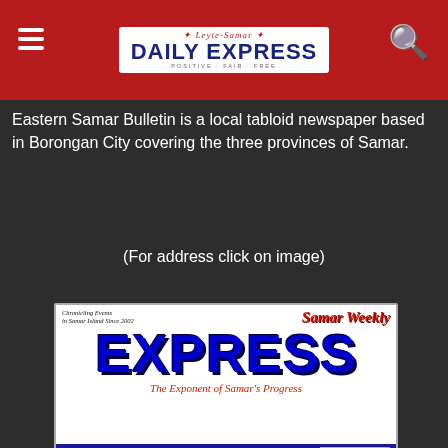[Figure (logo): Leyte-Samar Daily Express newspaper logo with red banner at the top of the page]
Eastern Samar Bulletin is a local tabloid newspaper based in Borongan City covering the three provinces of Samar.
(For address click on image)
[Figure (logo): Samar Weekly Express newspaper logo showing 'Samar Weekly' in red italic, 'EXPRESS' in large blue bold text, tagline 'The Exponent of Samar's Progress' in red italic, and footer bar with INDEPENDENT, POSITIVE, FEARLESS, and PTO in Catbalogan]
Samar Weekly Express is published weekly in multi-lingual format based in Catbalogan City covering the three islands of Samar.
(For address click on image)